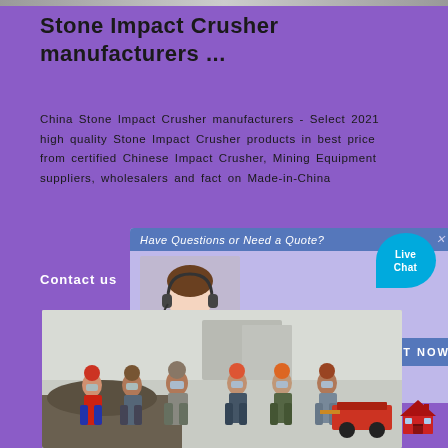Stone Impact Crusher manufacturers ...
China Stone Impact Crusher manufacturers - Select 2021 high quality Stone Impact Crusher products in best price from certified Chinese Impact Crusher, Mining Equipment suppliers, wholesalers and factory on Made-in-China
Contact us
[Figure (screenshot): Live chat popup overlay with a woman wearing a headset and a 'CHAT NOW' button, plus a 'Live Chat' speech bubble icon in the top right]
[Figure (photo): Group of workers in orange hard hats and face masks at a construction/mining site with equipment]